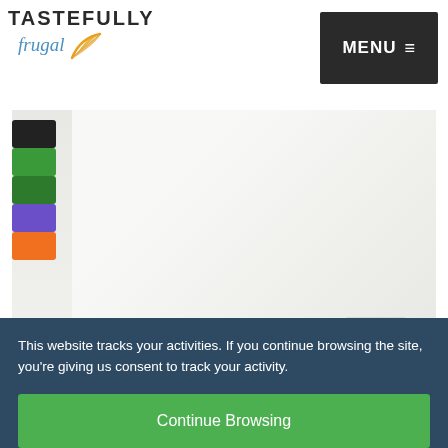[Figure (logo): Tastefully Frugal logo with leaf graphic and MENU button]
[Figure (photo): Photo of colorful markers (black, green, dark green, purple, orange) next to a white t-shirt on a table]
How To Use Cricut Infusible Ink Pens and
This website tracks your activities. If you continue browsing the site, you’re giving us consent to track your activity.
Continue Browsing